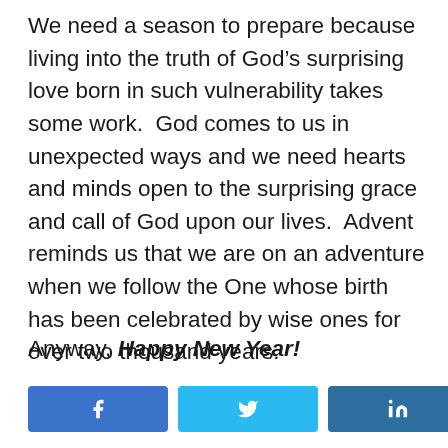We need a season to prepare because living into the truth of God's surprising love born in such vulnerability takes some work.  God comes to us in unexpected ways and we need hearts and minds open to the surprising grace and call of God upon our lives.  Advent reminds us that we are on an adventure when we follow the One whose birth has been celebrated by wise ones for over two thousand years.
Anyway, Happy New Year!
[Figure (other): Social share buttons: Facebook (blue), Twitter (light blue), LinkedIn (dark blue), and a share count showing 0 SHARES]